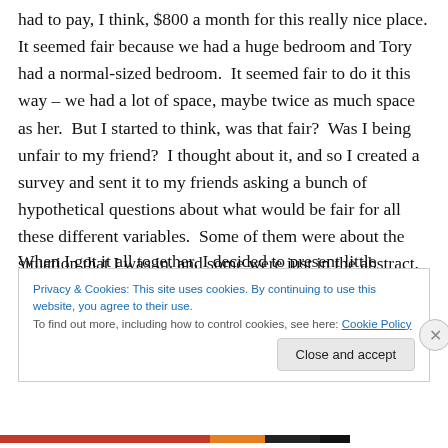had to pay, I think, $800 a month for this really nice place. It seemed fair because we had a huge bedroom and Tory had a normal-sized bedroom. It seemed fair to do it this way – we had a lot of space, maybe twice as much space as her. But I started to think, was that fair? Was I being unfair to my friend? I thought about it, and so I created a survey and sent it to my friends asking a bunch of hypothetical questions about what would be fair for all these different variables. Some of them were about the situation that I was in, and some were just in the abstract.
Privacy & Cookies: This site uses cookies. By continuing to use this website, you agree to their use.
To find out more, including how to control cookies, see here: Cookie Policy